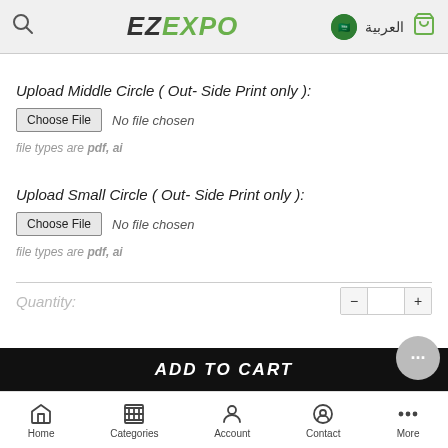EZExpo | العربية
Upload Middle Circle ( Out- Side Print only ):
Choose File  No file chosen
file types are pdf, ai
Upload Small Circle ( Out- Side Print only ):
Choose File  No file chosen
file types are pdf, ai
Quantity:
ADD TO CART
Home  Categories  Account  Contact  More